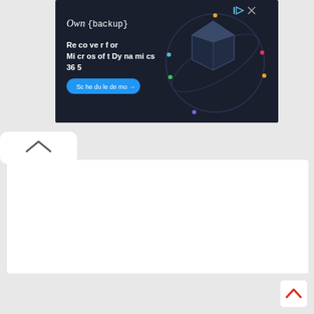[Figure (screenshot): Advertisement banner for Own {backup} - Recover for Microsoft Dynamics 365 with Schedule demo button and decorative 3D diamond/icosahedron graphic on dark background]
[Figure (screenshot): Collapsed tab/accordion UI element with up-arrow caret on white rounded tab]
[Figure (screenshot): White content panel/box (main content area, empty)]
[Figure (screenshot): Back-to-top button (red chevron up arrow) in bottom right corner]